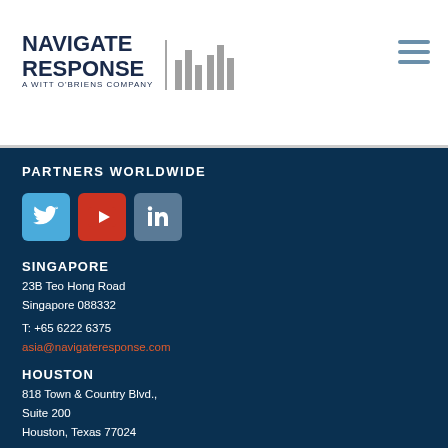[Figure (logo): Navigate Response logo — A Witt OBriens Company — with vertical bar chart graphic]
[Figure (other): Hamburger menu icon (three horizontal lines) in blue-grey]
PARTNERS WORLDWIDE
[Figure (other): Three social media icons: Twitter (blue), YouTube (red), LinkedIn (grey-blue)]
SINGAPORE
23B Teo Hong Road
Singapore 088332
T: +65 6222 6375
asia@navigateresponse.com
HOUSTON
818 Town & Country Blvd.,
Suite 200
Houston, Texas 77024